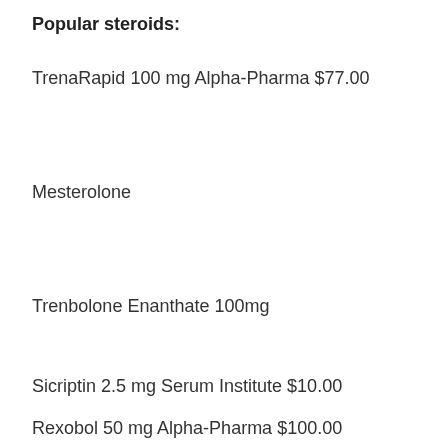Popular steroids:
TrenaRapid 100 mg Alpha-Pharma $77.00
Mesterolone
Trenbolone Enanthate 100mg
Sicriptin 2.5 mg Serum Institute $10.00
Rexobol 50 mg Alpha-Pharma $100.00